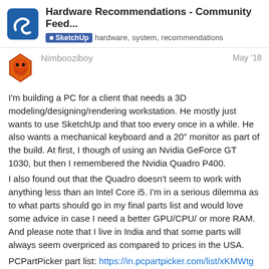Hardware Recommendations - Community Feed... SketchUp hardware, system, recommendations
Nimbooziboy May '18
I'm building a PC for a client that needs a 3D modeling/designing/rendering workstation. He mostly just wants to use SketchUp and that too every once in a while. He also wants a mechanical keyboard and a 20" monitor as part of the build. At first, I though of using an Nvidia GeForce GT 1030, but then I remembered the Nvidia Quadro P400.
I also found out that the Quadro doesn't seem to work with anything less than an Intel Core i5. I'm in a serious dilemma as to what parts should go in my final parts list and would love some advice in case I need a better GPU/CPU/ or more RAM. And please note that I live in India and that some parts will always seem overpriced as compared to prices in the USA.
PCPartPicker part list: https://in.pcpartpicker.com/list/xKMWtg
5
7 / 41
Price breakdown by merchant:
https://in.pcpartpicker.com/list/xKMWtg/by